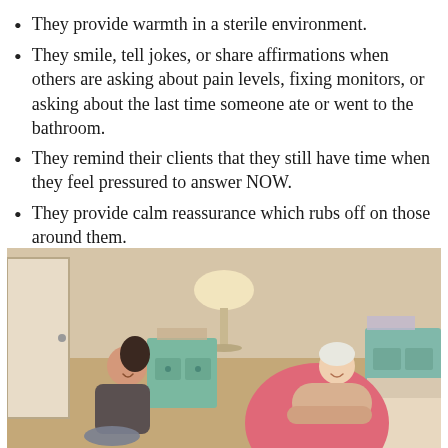They provide warmth in a sterile environment.
They smile, tell jokes, or share affirmations when others are asking about pain levels, fixing monitors, or asking about the last time someone ate or went to the bathroom.
They remind their clients that they still have time when they feel pressured to answer NOW.
They provide calm reassurance which rubs off on those around them.
[Figure (photo): A doula or birth support person sitting on the floor smiling, next to a pregnant woman leaning over a large pink exercise/birthing ball, both laughing in a home bedroom setting with teal nightstands and a lamp in the background.]